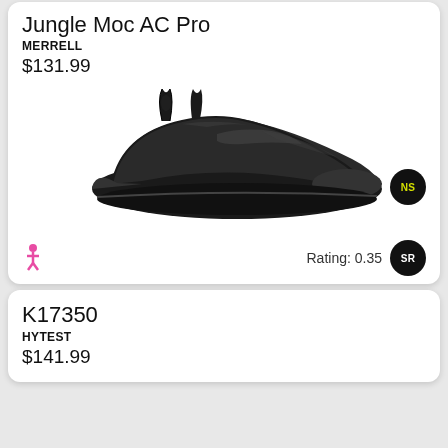Jungle Moc AC Pro
MERRELL
$131.99
[Figure (photo): Black Merrell Jungle Moc AC Pro slip-on shoe, side/top view showing pull tab and elastic gore]
NS
Rating: 0.35
SR
K17350
HYTEST
$141.99